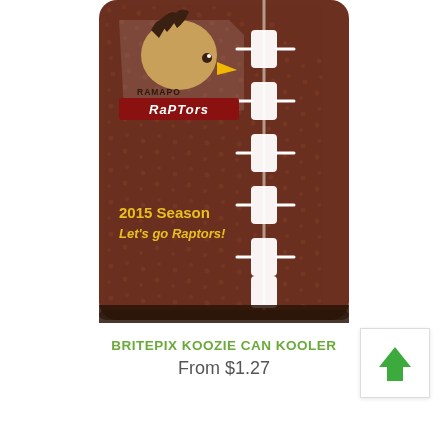[Figure (photo): A football-textured can koozie/kooler featuring the Ramapo Raptors logo (eagle mascot) and the text '2015 Season Let's go Raptors!' printed on it. The koozie has a brown football leather texture with white laces on the right side.]
BRITEPIX KOOZIE CAN KOOLER
From $1.27